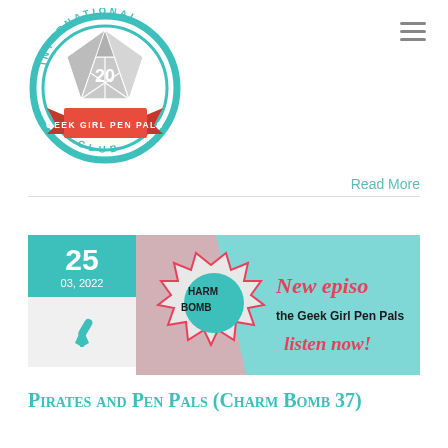[Figure (logo): Geek Girl Pen Pals International Club logo: teal circular badge with a D20 dice icon and a pink/red ribbon banner reading GEEK GIRL PEN PALS, with INTERNATIONAL at top arc and CLUB at bottom arc]
[Figure (other): Hamburger menu icon (three horizontal lines) in top-right corner]
Read More
[Figure (other): Post card thumbnail: teal date box showing 25 / 03, 2022, grey icon box with a pen/quill icon, and a banner image for Charm Bomb podcast episode with text 'New episo... the Geek Girl Pen Pals ... listen now!']
Pirates and Pen Pals (Charm Bomb 37)